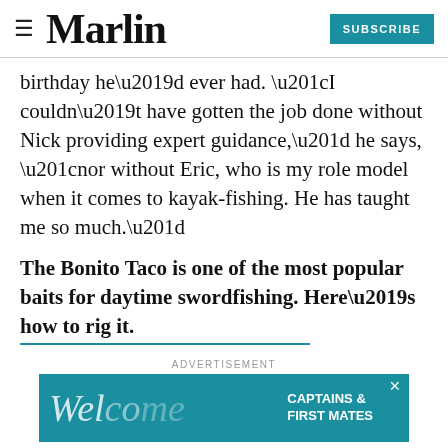Marlin | SUBSCRIBE
birthday he’d ever had. “I couldn’t have gotten the job done without Nick providing expert guidance,” he says, “nor without Eric, who is my role model when it comes to kayak-fishing. He has taught me so much.”
The Bonito Taco is one of the most popular baits for daytime swordfishing. Here’s how to rig it.
ADVERTISEMENT
[Figure (other): Advertisement banner with teal background showing 'Welcome' in italic script and 'CAPTAINS & FIRST MATES' text on the right, with a close button.]